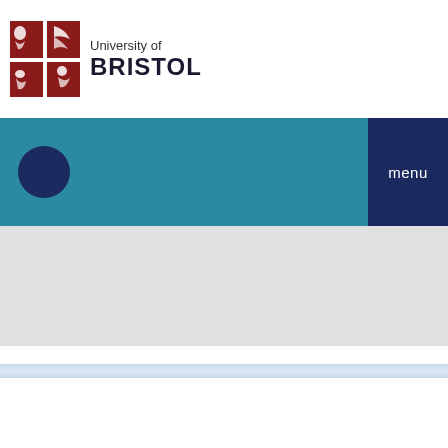[Figure (logo): University of Bristol logo with red heraldic crest and text 'University of BRISTOL']
menu
[Figure (screenshot): University of Bristol website navigation bar with teal background, dark navy circle on left and navy 'menu' button on right]